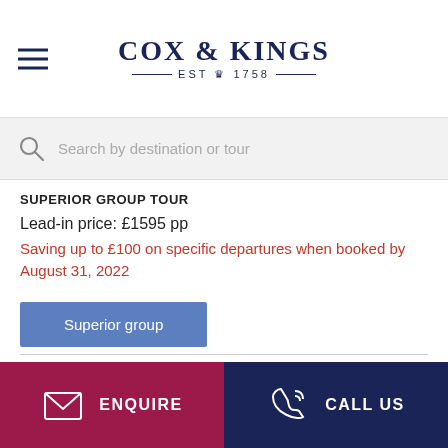COX & KINGS — EST 1758 —
Search by destination or tour
SUPERIOR GROUP TOUR
Lead-in price: £1595 pp
Saving up to £100 on specific departures when booked by August 31, 2022
Superior group
[Figure (photo): Partial view of a historic tower or minaret with dark spired roof against a blue sky]
ENQUIRE  CALL US